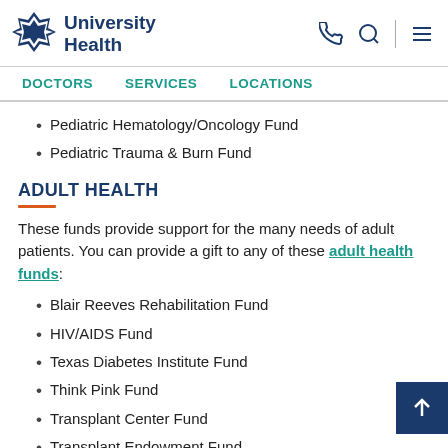University Health
DOCTORS  SERVICES  LOCATIONS
Pediatric Hematology/Oncology Fund
Pediatric Trauma & Burn Fund
ADULT HEALTH
These funds provide support for the many needs of adult patients. You can provide a gift to any of these adult health funds:
Blair Reeves Rehabilitation Fund
HIV/AIDS Fund
Texas Diabetes Institute Fund
Think Pink Fund
Transplant Center Fund
Transplant Endowment Fund